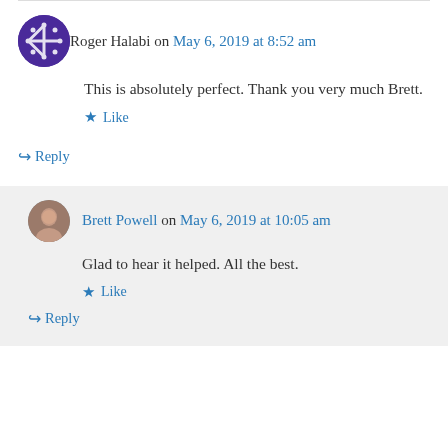Roger Halabi on May 6, 2019 at 8:52 am
This is absolutely perfect. Thank you very much Brett.
Like
Reply
Brett Powell on May 6, 2019 at 10:05 am
Glad to hear it helped. All the best.
Like
Reply